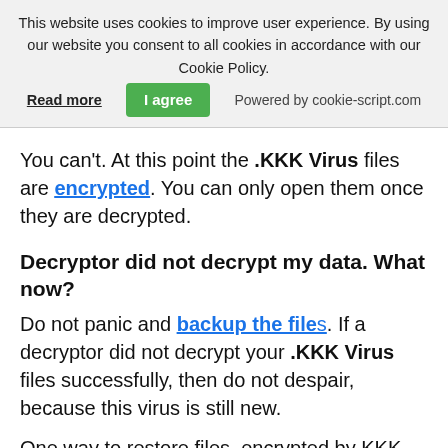This website uses cookies to improve user experience. By using our website you consent to all cookies in accordance with our Cookie Policy. Read more  I agree  Powered by cookie-script.com
You can't. At this point the .KKK Virus files are encrypted. You can only open them once they are decrypted.
Decryptor did not decrypt my data. What now?
Do not panic and backup the files. If a decryptor did not decrypt your .KKK Virus files successfully, then do not despair, because this virus is still new.
One way to restore files, encrypted by KKK Virus ransomware is to use a decryptor for it. But since it's a new virus, advised that the decryption keys for it may not be out yet and available to the public. We will update this article and keep you posted as soon as this decryptor is released.